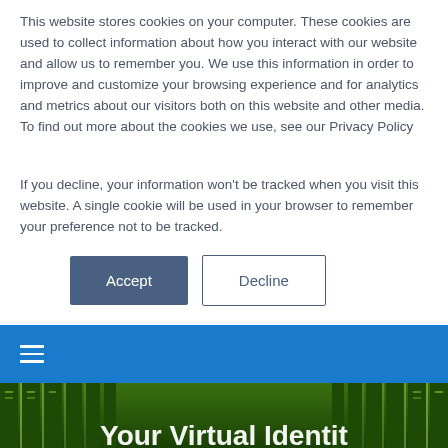This website stores cookies on your computer. These cookies are used to collect information about how you interact with our website and allow us to remember you. We use this information in order to improve and customize your browsing experience and for analytics and metrics about our visitors both on this website and other media. To find out more about the cookies we use, see our Privacy Policy
If you decline, your information won't be tracked when you visit this website. A single cookie will be used in your browser to remember your preference not to be tracked.
[Figure (screenshot): Two buttons: Accept (dark blue-grey filled) and Decline (white with dark border)]
[Figure (screenshot): Blue navigation bar with hamburger menu icon (three white horizontal lines)]
[Figure (photo): Green-tinted server room hallway with server racks on both sides, partial white bold text at bottom reading 'Your Virtual Identit...' (truncated)]